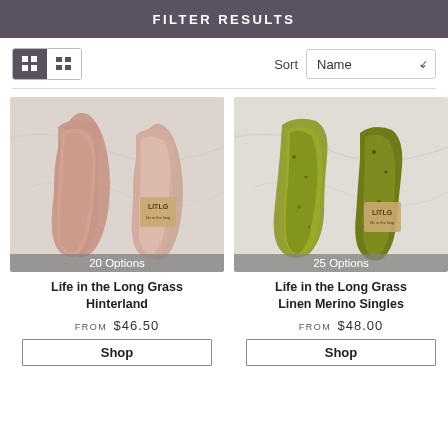FILTER RESULTS
Sort  Name
[Figure (photo): Two skeins of pink/rose-toned yarn on marble background with LITLG label, showing '20 Options']
Life in the Long Grass Hinterland
FROM $46.50
Shop
[Figure (photo): Two skeins of yellow-green speckled yarn on marble background with LITLG label, showing '25 Options']
Life in the Long Grass Linen Merino Singles
FROM $48.00
Shop